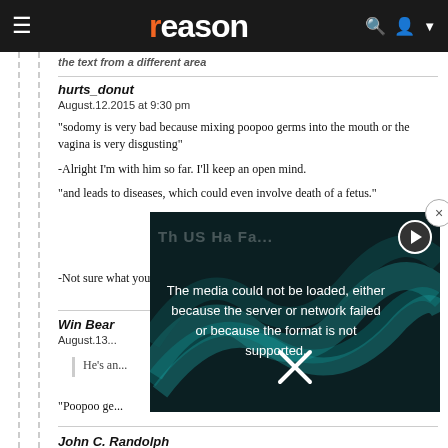reason
...the text from a different area...
hurts_donut
August.12.2015 at 9:30 pm

"sodomy is very bad because mixing poopoo germs into the mouth or the vagina is very disgusting"

-Alright I'm with him so far. I'll keep an open mind.

"and leads to diseases, which could even involve death of a fetus."

-Not sure what your bitch is. This is just sound science.
Win Bear
August.13...
He's an...
"Poopoo ge...
John C. Randolph
[Figure (screenshot): Video player overlay showing error message: 'The media could not be loaded, either because the server or network failed or because the format is not supported.' with a play button icon and close button. Background shows a dark teal DNA strand graphic.]